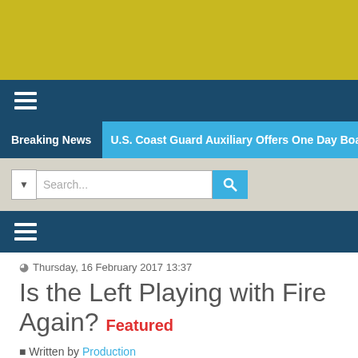[Figure (other): Yellow/olive colored banner image at the top of the page]
≡ [Navigation menu bar]
Breaking News   U.S. Coast Guard Auxiliary Offers One Day Boating Safety...
Search... [search box with dropdown and search button]
≡ [Second navigation menu bar]
Thursday, 16 February 2017 13:37
Is the Left Playing with Fire Again? Featured
Written by Production
Share  Share [Facebook and LinkedIn share buttons]